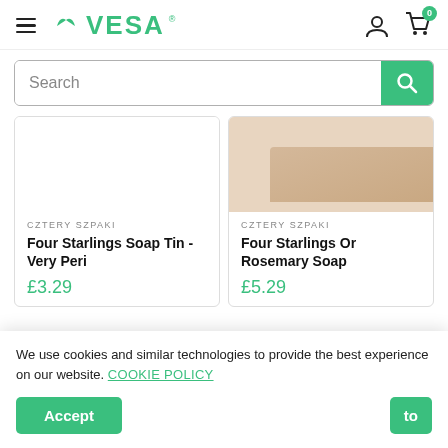[Figure (logo): VESA logo with green leaf icon and green text]
[Figure (screenshot): Search bar with text 'Search' and green search button]
CZTERY SZPAKI
Four Starlings Soap Tin - Very Peri
£3.29
CZTERY SZPAKI
Four Starlings Or... Rosemary Soap
£5.29
We use cookies and similar technologies to provide the best experience on our website. COOKIE POLICY
Accept